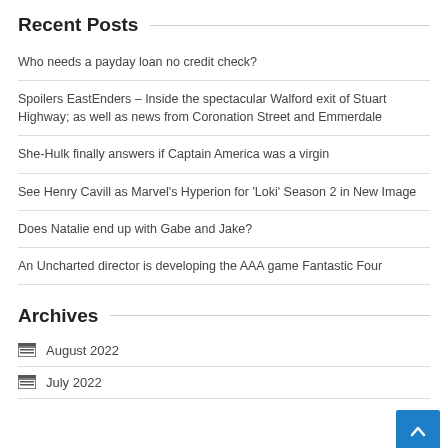Recent Posts
Who needs a payday loan no credit check?
Spoilers EastEnders – Inside the spectacular Walford exit of Stuart Highway; as well as news from Coronation Street and Emmerdale
She-Hulk finally answers if Captain America was a virgin
See Henry Cavill as Marvel's Hyperion for 'Loki' Season 2 in New Image
Does Natalie end up with Gabe and Jake?
An Uncharted director is developing the AAA game Fantastic Four
Archives
August 2022
July 2022